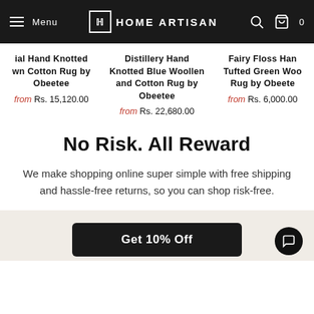Menu | HOME ARTISAN | 0
ial Hand Knotted wn Cotton Rug by Obeetee — from Rs. 15,120.00
Distillery Hand Knotted Blue Woollen and Cotton Rug by Obeetee — from Rs. 22,680.00
Fairy Floss Han Tufted Green Woo Rug by Obeete — from Rs. 6,000.00
No Risk. All Reward
We make shopping online super simple with free shipping and hassle-free returns, so you can shop risk-free.
Get 10% Off